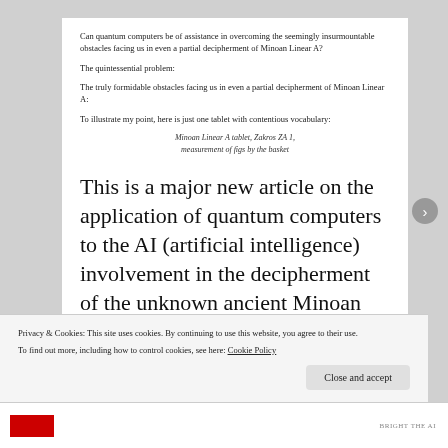Can quantum computers be of assistance in overcoming the seemingly insurmountable obstacles facing us in even a partial decipherment of Minoan Linear A?
The quintessential problem:
The truly formidable obstacles facing us in even a partial decipherment of Minoan Linear A:
To illustrate my point, here is just one tablet with contentious vocabulary:
Minoan Linear A tablet, Zakros ZA 1, measurement of figs by the basket
This is a major new article on the application of quantum computers to the AI (artificial intelligence) involvement in the decipherment of the unknown ancient Minoan Linear A syllabary (ca. 2800 – 1500 BCE). This article advances the hypothesis that quantum computers such as
Privacy & Cookies: This site uses cookies. By continuing to use this website, you agree to their use. To find out more, including how to control cookies, see here: Cookie Policy
Close and accept